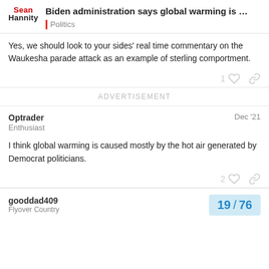Biden administration says global warming is ... | Politics
Yes, we should look to your sides' real time commentary on the Waukesha parade attack as an example of sterling comportment.
ADVERTISEMENT
Optrader
Enthusiast
Dec '21
I think global warming is caused mostly by the hot air generated by Democrat politicians.
gooddad409
Flyover Country
19 / 76